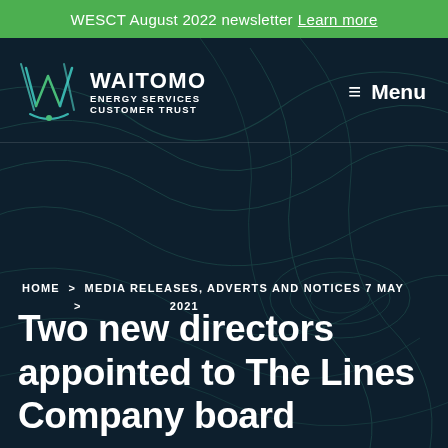WESCT August 2022 newsletter Learn more
[Figure (logo): Waitomo Energy Services Customer Trust logo with stylized W icon in teal/green gradient]
≡ Menu
HOME > MEDIA RELEASES, ADVERTS AND NOTICES > 7 MAY 2021
Two new directors appointed to The Lines Company board